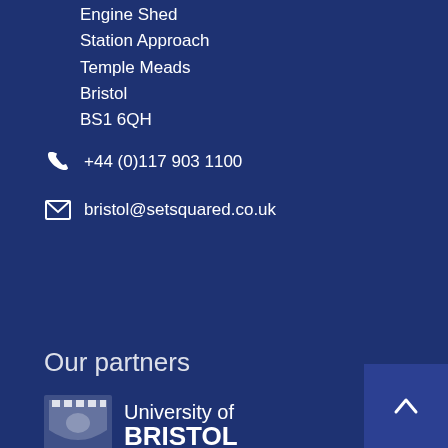Engine Shed
Station Approach
Temple Meads
Bristol
BS1 6QH
+44 (0)117 903 1100
bristol@setsquared.co.uk
Get in touch
Our partners
[Figure (logo): University of Bristol logo with shield and text]